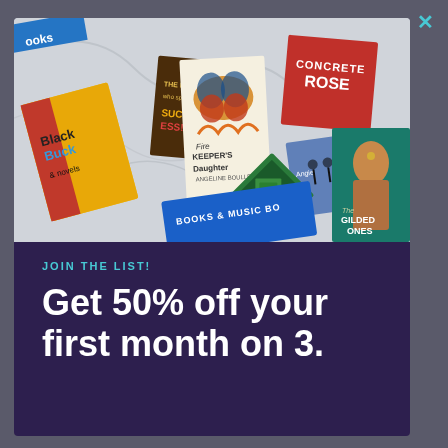[Figure (photo): Collection of books on a marble surface including 'Black Buck', 'Fire Keeper's Daughter', 'Concrete Rose', 'The Gilded Ones', and others, arranged at various angles with a blue 'Books & Music Box' tray]
JOIN THE LIST!
Get 50% off your first month on 3.